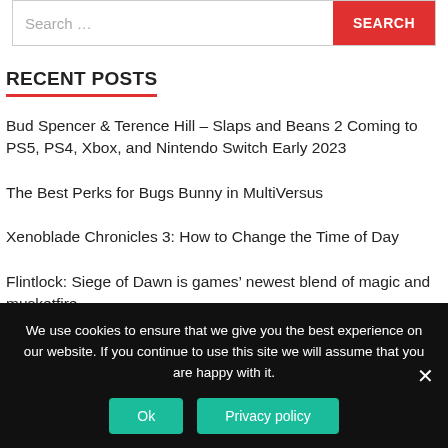Search ...
RECENT POSTS
Bud Spencer & Terence Hill – Slaps and Beans 2 Coming to PS5, PS4, Xbox, and Nintendo Switch Early 2023
The Best Perks for Bugs Bunny in MultiVersus
Xenoblade Chronicles 3: How to Change the Time of Day
Flintlock: Siege of Dawn is games' newest blend of magic and musketfire
We use cookies to ensure that we give you the best experience on our website. If you continue to use this site we will assume that you are happy with it.